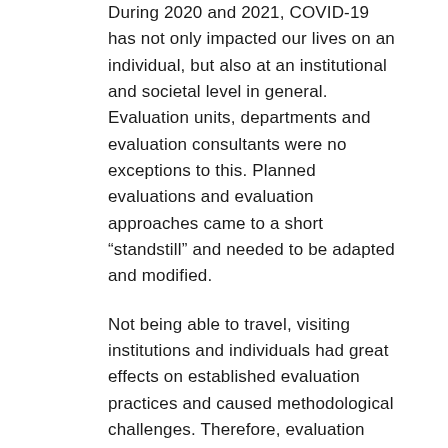During 2020 and 2021, COVID-19 has not only impacted our lives on an individual, but also at an institutional and societal level in general. Evaluation units, departments and evaluation consultants were no exceptions to this. Planned evaluations and evaluation approaches came to a short “standstill” and needed to be adapted and modified.
Not being able to travel, visiting institutions and individuals had great effects on established evaluation practices and caused methodological challenges. Therefore, evaluation concepts were revised, new guidance notes developed, TOR adapted for these special circumstances, new evaluation methods tested, and a variety of initiatives were launched.
Overall, evaluation commissioners and evaluators faced a variety of organizational, managerial,